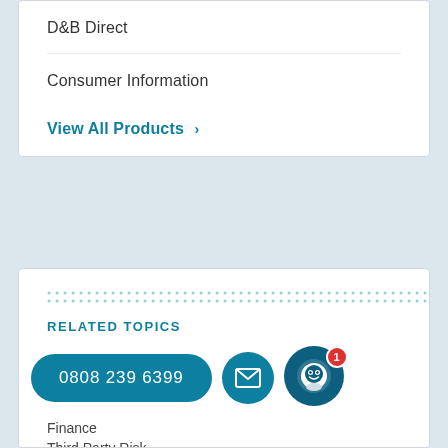D&B Direct
Consumer Information
View All Products ›
[Figure (illustration): Dotted teal decorative border line]
RELATED TOPICS
[Figure (infographic): Contact row: teal phone button showing 0808 239 6399, teal email icon circle, teal chat bot circle with red badge showing 1]
Finance
Third Party Risk